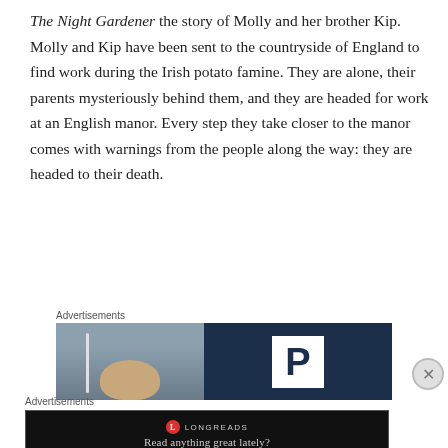The Night Gardener the story of Molly and her brother Kip. Molly and Kip have been sent to the countryside of England to find work during the Irish potato famine. They are alone, their parents mysteriously behind them, and they are headed for work at an English manor. Every step they take closer to the manor comes with warnings from the people along the way: they are headed to their death.
Advertisements
[Figure (photo): Advertisement image with a person and a parking logo (white P on dark navy background)]
Advertisements
[Figure (screenshot): Longreads advertisement banner with red circle logo and text 'Read anything great lately?' on black background]